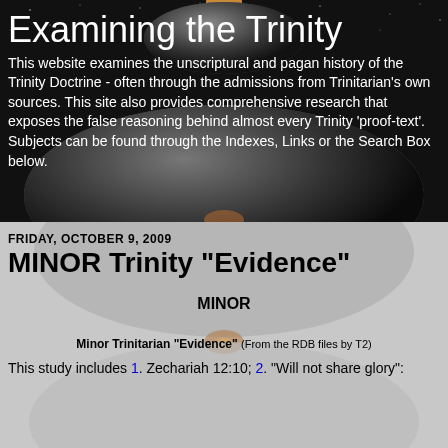[Figure (illustration): Dark space background with planet/moon imagery and glowing light, serving as header background]
Examining the Trinity
This website examines the unscriptural and pagan history of the Trinity Doctrine - often through the admissions from Trinitarian's own sources. This site also provides comprehensive research that exposes the false reasoning behind almost every Trinity 'proof-text'. Subjects can be found through the Indexes, Links or the Search Box below.
[Figure (illustration): Light gray background with planet/moon imagery, serving as lower section background]
FRIDAY, OCTOBER 9, 2009
MINOR Trinity "Evidence"
MINOR
Minor Trinitarian "Evidence" (From the RDB files by T2)
This study includes 1. Zechariah 12:10; 2. "Will not share glory":